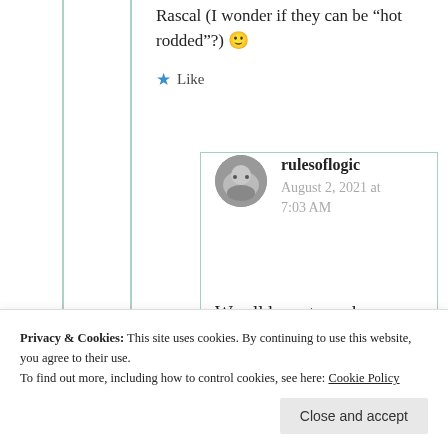Rascal (I wonder if they can be “hot rodded”?) 🙂
★ Like
rulesoflogic
August 2, 2021 at 7:03 AM
We all have to make
Privacy & Cookies: This site uses cookies. By continuing to use this website, you agree to their use.
To find out more, including how to control cookies, see here: Cookie Policy
Close and accept